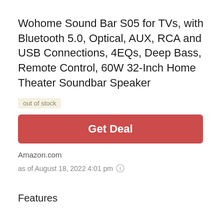Wohome Sound Bar S05 for TVs, with Bluetooth 5.0, Optical, AUX, RCA and USB Connections, 4EQs, Deep Bass, Remote Control, 60W 32-Inch Home Theater Soundbar Speaker
out of stock
Get Deal
Amazon.com
as of August 18, 2022 4:01 pm
Features